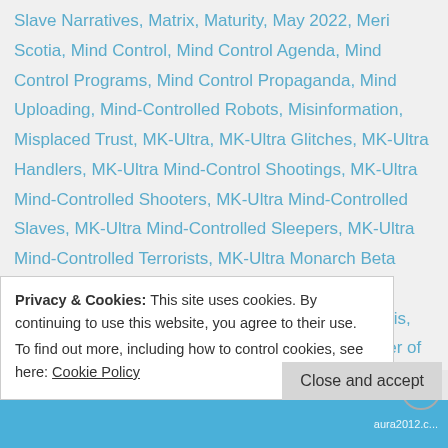Slave Narratives, Matrix, Maturity, May 2022, Meri Scotia, Mind Control, Mind Control Agenda, Mind Control Programs, Mind Control Propaganda, Mind Uploading, Mind-Controlled Robots, Misinformation, Misplaced Trust, MK-Ultra, MK-Ultra Glitches, MK-Ultra Handlers, MK-Ultra Mind-Control Shootings, MK-Ultra Mind-Controlled Shooters, MK-Ultra Mind-Controlled Slaves, MK-Ultra Mind-Controlled Sleepers, MK-Ultra Mind-Controlled Terrorists, MK-Ultra Monarch Beta Slave, MK-Ultra Monarch Programming, MK-Ultra Programming, MK-Ultra Symbolism, Morphogenesis, Mother Arc, Mother Arc Hubs, Mother Earth, Mother of God, mRNA 'Mark of the Beast' Vaccinations, mRNA 'Mark of the Beast' Vaccines, mRNA
Privacy & Cookies: This site uses cookies. By continuing to use this website, you agree to their use. To find out more, including how to control cookies, see here: Cookie Policy
Close and accept